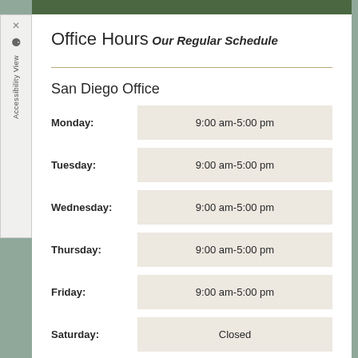Office Hours
Our Regular Schedule
San Diego Office
| Day | Hours |
| --- | --- |
| Monday: | 9:00 am-5:00 pm |
| Tuesday: | 9:00 am-5:00 pm |
| Wednesday: | 9:00 am-5:00 pm |
| Thursday: | 9:00 am-5:00 pm |
| Friday: | 9:00 am-5:00 pm |
| Saturday: | Closed |